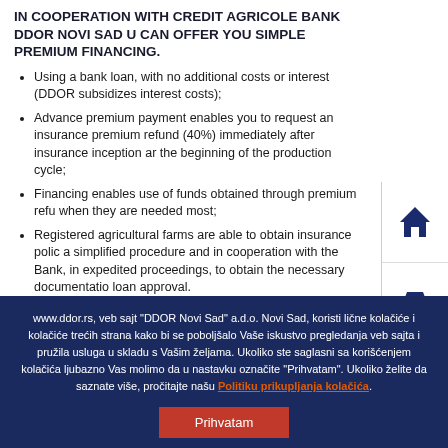IN COOPERATION WITH CREDIT AGRICOLE BANK DDOR NOVI SAD U CAN OFFER YOU SIMPLE PREMIUM FINANCING.
Using a bank loan, with no additional costs or interest (DDOR subsidizes interest costs);
Advance premium payment enables you to request an insurance premium refund (40%) immediately after insurance inception and the beginning of the production cycle;
Financing enables use of funds obtained through premium refund when they are needed most;
Registered agricultural farms are able to obtain insurance policies through a simplified procedure and in cooperation with the Bank, in expedited proceedings, to obtain the necessary documentation for loan approval.
Details regarding loans for financing agricultural insurance an...
[Figure (infographic): Side navigation icons: house icon, car icon, umbrella icon, building/grid icon — all in dark navy blue on white panels]
www.ddor.rs, veb sajt "DDOR Novi Sad" a.d.o. Novi Sad, koristi lične kolačiće i kolačiće trećih strana kako bi se poboljšalo Vaše iskustvo pregledanja veb sajta i pružila usluga u skladu s Vašim željama. Ukoliko ste saglasni sa korišćenjem kolačića ljubazno Vas molimo da u nastavku označite "Prihvatam". Ukoliko želite da saznate više, pročitajte našu Politiku prikupljanja kolačića.